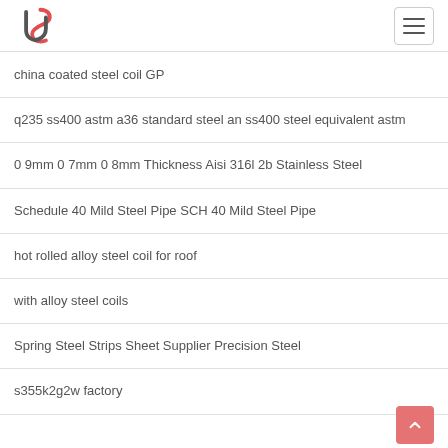china coated steel coil GP
q235 ss400 astm a36 standard steel an ss400 steel equivalent astm
0 9mm 0 7mm 0 8mm Thickness Aisi 316l 2b Stainless Steel
Schedule 40 Mild Steel Pipe SCH 40 Mild Steel Pipe
hot rolled alloy steel coil for roof
with alloy steel coils
Spring Steel Strips Sheet Supplier Precision Steel
s355k2g2w factory